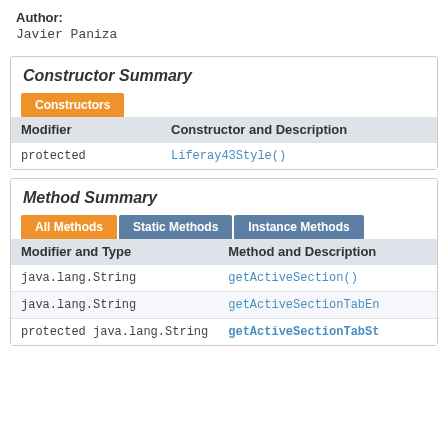Author: Javier Paniza
Constructor Summary
| Modifier | Constructor and Description |
| --- | --- |
| protected | Liferay43Style() |
Method Summary
| Modifier and Type | Method and Description |
| --- | --- |
| java.lang.String | getActiveSection() |
| java.lang.String | getActiveSectionTabEn... |
| protected java.lang.String | getActiveSectionTabSt... |